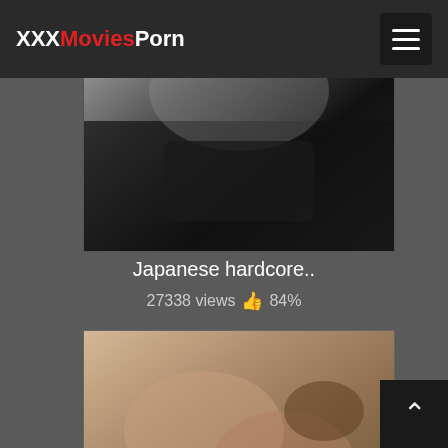XXXMoviesPorn
[Figure (photo): Thumbnail of Japanese hardcore video, dark toned image]
Japanese hardcore..
27338 views 👍 84%
[Figure (photo): Thumbnail of second video showing two women on a bed]